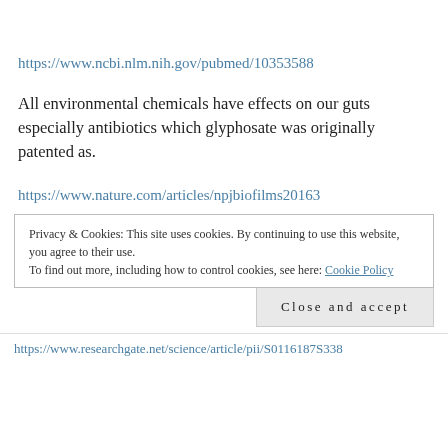https://www.ncbi.nlm.nih.gov/pubmed/10353588
All environmental chemicals have effects on our guts especially antibiotics which glyphosate was originally patented as.
https://www.nature.com/articles/npjbiofilms20163
Privacy & Cookies: This site uses cookies. By continuing to use this website, you agree to their use.
To find out more, including how to control cookies, see here: Cookie Policy
Close and accept
https://www.researchgate.net/science/article/pii/S01187534838